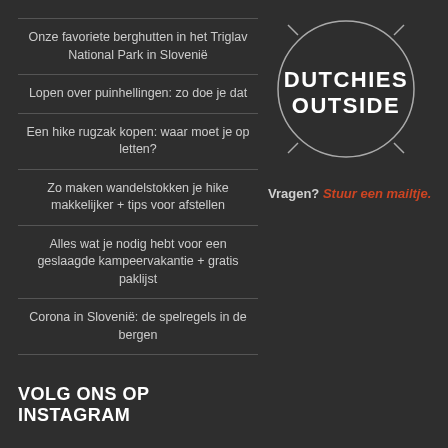Onze favoriete berghutten in het Triglav National Park in Slovenië
Lopen over puinhellingen: zo doe je dat
Een hike rugzak kopen: waar moet je op letten?
Zo maken wandelstokken je hike makkelijker + tips voor afstellen
Alles wat je nodig hebt voor een geslaagde kampeervakantie + gratis paklijst
Corona in Slovenië: de spelregels in de bergen
[Figure (logo): Dutchies Outside logo — circle with diagonal cut lines and bold block text DUTCHIES OUTSIDE inside]
Vragen? Stuur een mailtje.
VOLG ONS OP INSTAGRAM